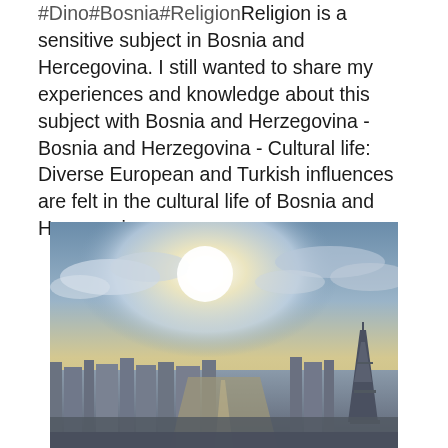#Dino#Bosnia#ReligionReligion is a sensitive subject in Bosnia and Hercegovina. I still wanted to share my experiences and knowledge about this subject with Bosnia and Herzegovina - Bosnia and Herzegovina - Cultural life: Diverse European and Turkish influences are felt in the cultural life of Bosnia and Herzegovina.
[Figure (photo): Aerial cityscape photo showing a wide urban panorama with a bright sun in the sky and the Eiffel Tower visible on the right side.]